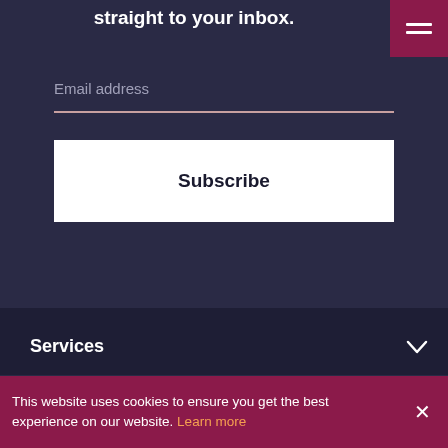straight to your inbox.
Email address
Subscribe
Services
Locations
Company
This website uses cookies to ensure you get the best experience on our website. Learn more